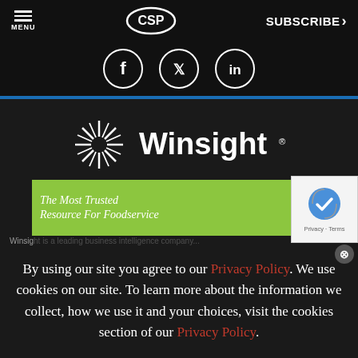MENU | CSP | SUBSCRIBE >
[Figure (logo): Social media icons (Facebook, Twitter, LinkedIn) in circles on dark bar]
[Figure (logo): Winsight logo - starburst/firework icon with 'Winsight.' text in white on dark background]
[Figure (advertisement): Green banner ad: 'The Most Trusted Resource For Foodservice' with National Restaurant Association Show 2023 logo]
Winsig... [partially obscured description text]
By using our site you agree to our Privacy Policy. We use cookies on our site. To learn more about the information we collect, how we use it and your choices, visit the cookies section of our Privacy Policy.